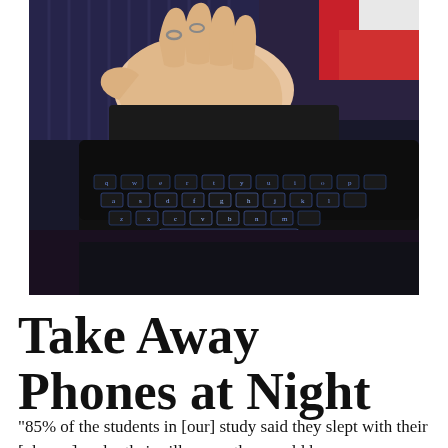[Figure (photo): Close-up photo of a person's hand with rings resting on a black tablet keyboard with blue backlit keys. Person is wearing a dark blue knit sweater. Background shows red and white fabric.]
Take Away Phones at Night
“85% of the students in [our] study said they slept with their [phones] under their pillows so they could hear an